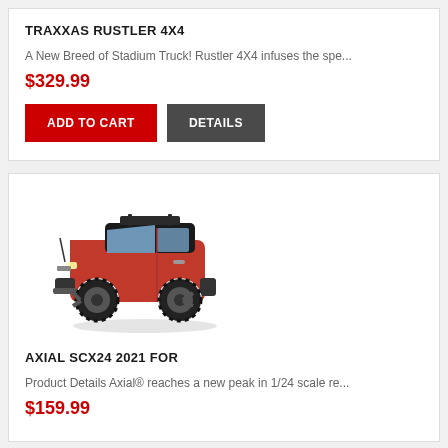TRAXXAS RUSTLER 4X4
A New Breed of Stadium Truck! Rustler 4X4 infuses the spe...
$329.99
[Figure (screenshot): ADD TO CART and DETAILS buttons]
[Figure (photo): Red Axial SCX24 2021 Ford Bronco RC truck model on white background]
AXIAL SCX24 2021 FOR
Product Details Axial® reaches a new peak in 1/24 scale re...
$159.99